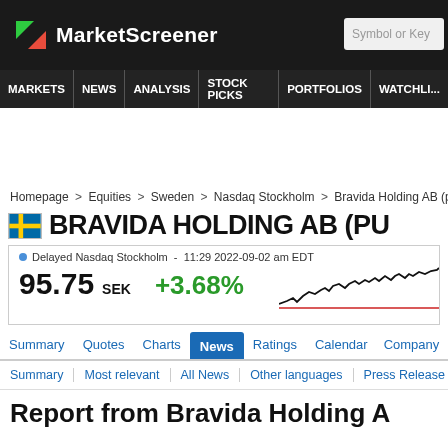MarketScreener
MARKETS  NEWS  ANALYSIS  STOCK PICKS  PORTFOLIOS  WATCHLI...
Homepage > Equities > Sweden > Nasdaq Stockholm > Bravida Holding AB (publ)
BRAVIDA HOLDING AB (PUB...)
Delayed Nasdaq Stockholm - 11:29 2022-09-02 am EDT  95.75 SEK  +3.68%
[Figure (line-chart): Small line chart showing recent stock price movement, with a dark line above a red baseline]
Summary  Quotes  Charts  News  Ratings  Calendar  Company
Summary | Most relevant | All News | Other languages | Press Release
Report from Bravida Holding A...